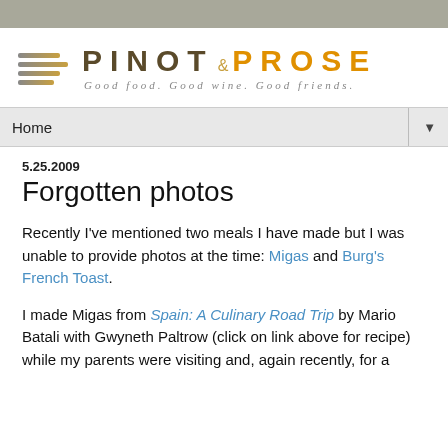[Figure (logo): Pinot & Prose blog logo with horizontal lines graphic and tagline 'Good food. Good wine. Good friends.']
Home ▼
5.25.2009
Forgotten photos
Recently I've mentioned two meals I have made but I was unable to provide photos at the time: Migas and Burg's French Toast.
I made Migas from Spain: A Culinary Road Trip by Mario Batali with Gwyneth Paltrow (click on link above for recipe) while my parents were visiting and, again recently, for a